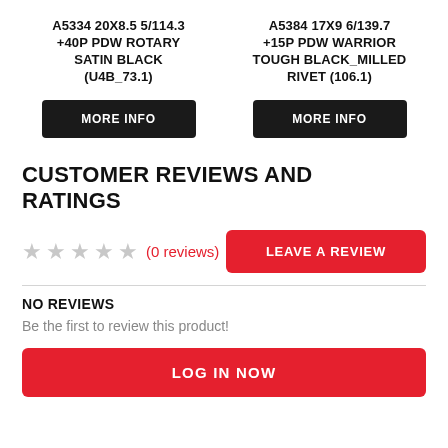A5334 20x8.5 5/114.3 +40P PDW ROTARY SATIN BLACK (U4B_73.1)
A5384 17x9 6/139.7 +15P PDW WARRIOR TOUGH BLACK_MILLED RIVET (106.1)
CUSTOMER REVIEWS AND RATINGS
★★★★★ (0 reviews)
NO REVIEWS
Be the first to review this product!